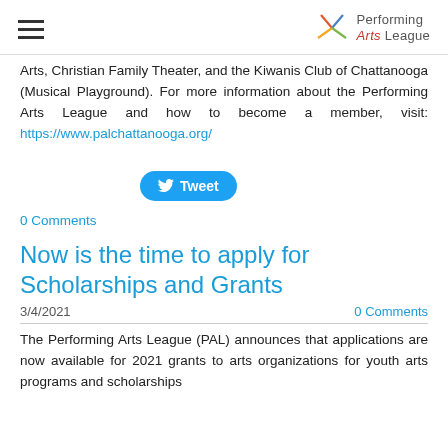Performing Arts League
Arts, Christian Family Theater, and the Kiwanis Club of Chattanooga (Musical Playground). For more information about the Performing Arts League and how to become a member, visit: https://www.palchattanooga.org/
[Figure (other): Twitter Tweet button (blue rounded rectangle with bird icon and 'Tweet' text)]
0 Comments
Now is the time to apply for Scholarships and Grants
3/4/2021    0 Comments
The Performing Arts League (PAL) announces that applications are now available for 2021 grants to arts organizations for youth arts programs and scholarships